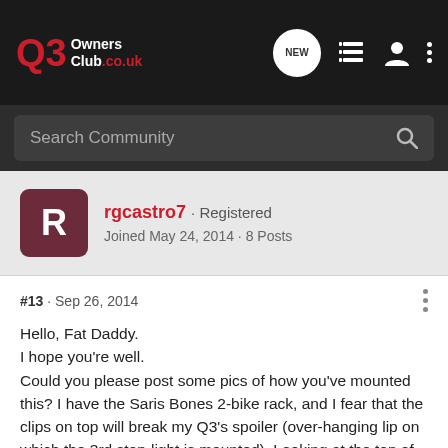Q3 Owners Club.co.uk
Search Community
rgcastro7 · Registered
Joined May 24, 2014 · 8 Posts
#13 · Sep 26, 2014
Hello, Fat Daddy.
I hope you're well.
Could you please post some pics of how you've mounted this? I have the Saris Bones 2-bike rack, and I fear that the clips on top will break my Q3's spoiler (over-hanging lip on which the 3rd stop-light is mounted). Looking at the top of the rear door, I observe that the spoiler is what the clips will hook to, not the door's metallic edge. This spoiler is held by just 2 small bolts, from what I can tell, and I've been quite afraid of using my Saris